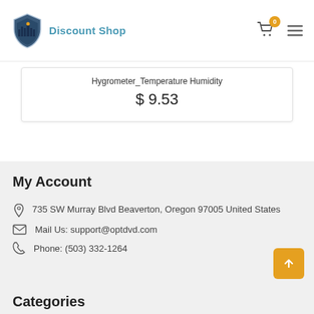Discount Shop
Hygrometer_Temperature Humidity
$ 9.53
My Account
735 SW Murray Blvd Beaverton, Oregon 97005 United States
Mail Us: support@optdvd.com
Phone: (503) 332-1264
Categories